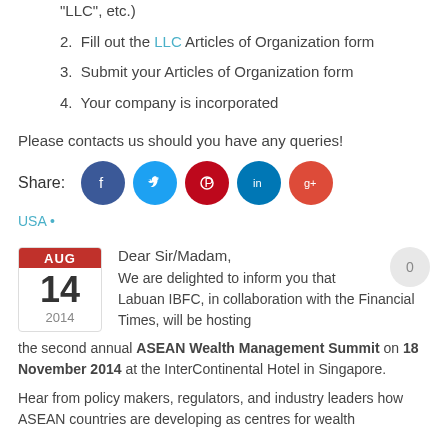"LLC", etc.)
2. Fill out the LLC Articles of Organization form
3. Submit your Articles of Organization form
4. Your company is incorporated
Please contacts us should you have any queries!
[Figure (infographic): Share row with social media icons: Facebook (dark blue), Twitter (light blue), Pinterest (red), LinkedIn (blue), Google+ (red-orange)]
USA •
Dear Sir/Madam,
We are delighted to inform you that Labuan IBFC, in collaboration with the Financial Times, will be hosting the second annual ASEAN Wealth Management Summit on 18 November 2014 at the InterContinental Hotel in Singapore.
Hear from policy makers, regulators, and industry leaders how ASEAN countries are developing as centres for wealth